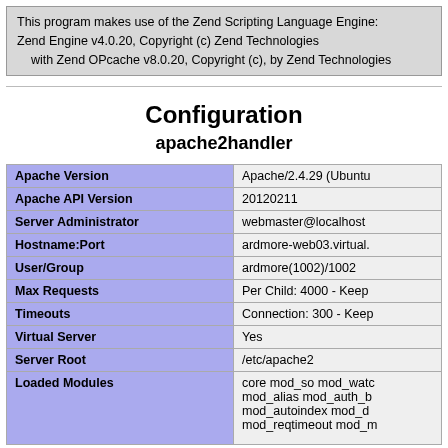This program makes use of the Zend Scripting Language Engine:
Zend Engine v4.0.20, Copyright (c) Zend Technologies
    with Zend OPcache v8.0.20, Copyright (c), by Zend Technologies
Configuration
apache2handler
|  |  |
| --- | --- |
| Apache Version | Apache/2.4.29 (Ubuntu |
| Apache API Version | 20120211 |
| Server Administrator | webmaster@localhost |
| Hostname:Port | ardmore-web03.virtual. |
| User/Group | ardmore(1002)/1002 |
| Max Requests | Per Child: 4000 - Keep |
| Timeouts | Connection: 300 - Keep |
| Virtual Server | Yes |
| Server Root | /etc/apache2 |
| Loaded Modules | core mod_so mod_watc
mod_alias mod_auth_b
mod_autoindex mod_d
mod_reqtimeout mod_m |